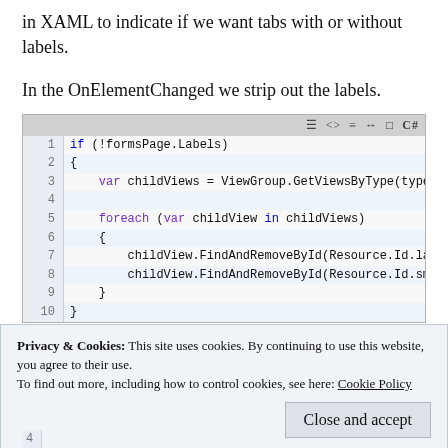in XAML to indicate if we want tabs with or without labels.
In the OnElementChanged we strip out the labels.
[Figure (screenshot): C# code snippet showing an if block that checks formsPage.Labels, declares var childViews = ViewGroup.GetViewsByType(type), then iterates with foreach (var childView in childViews) and calls childView.FindAndRemoveById(Resource.Id.la) and childView.FindAndRemoveById(Resource.Id.sm), closing braces for foreach and if.]
Privacy & Cookies: This site uses cookies. By continuing to use this website, you agree to their use.
To find out more, including how to control cookies, see here: Cookie Policy
Close and accept